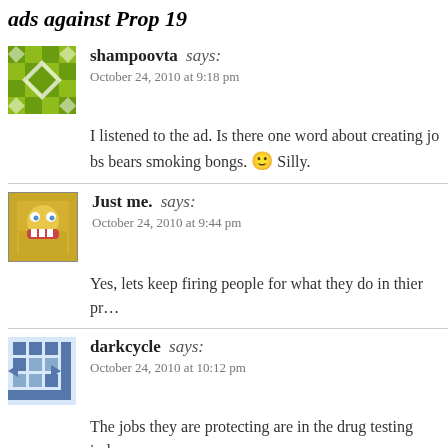ads against Prop 19
shampoovta says:
October 24, 2010 at 9:18 pm

I listened to the ad. Is there one word about creating jobs bears smoking bongs. 🙂 Silly.
Just me. says:
October 24, 2010 at 9:44 pm

Yes, lets keep firing people for what they do in thier pr…
darkcycle says:
October 24, 2010 at 10:12 pm

The jobs they are protecting are in the drug testing indu…